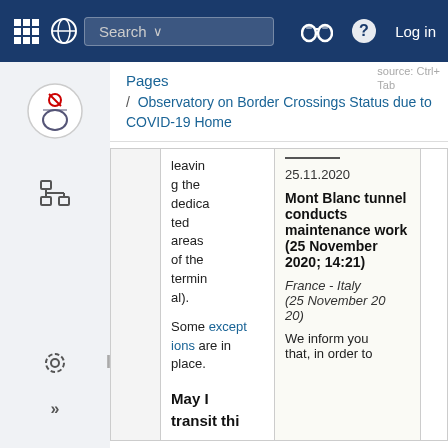[Figure (screenshot): Navigation bar with grid icon, search box, binoculars icon, help icon, and Log in link on dark blue background]
Pages
/ Observatory on Border Crossings Status due to COVID-19 Home
|  | leaving the dedicated areas of the terminal.

Some exceptions are in place.

May I transit this | ___
25.11.2020

Mont Blanc tunnel conducts maintenance work (25 November 2020; 14:21)

France - Italy (25 November 2020)

We inform you that, in order to |  |